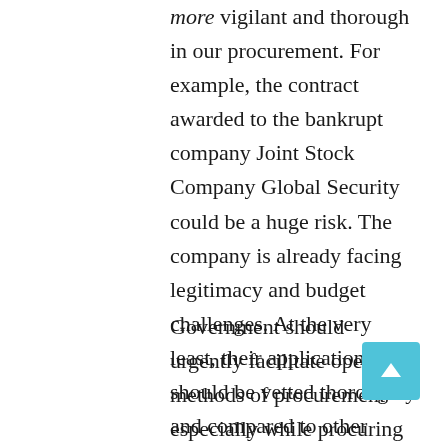more vigilant and thorough in our procurement. For example, the contract awarded to the bankrupt company Joint Stock Company Global Security could be a huge risk. The company is already facing legitimacy and budget challenges. At the very least, their application should be vetted thoroughly and compared to other companies to ensure that they are not compromising on data security and safety.
Government should urgently facilitate open methods of procurement especially while procuring digital technology systems given their sensitivity. This will promote value for money and transparency in these processes. It's also key that there is constant capacity building of government procurement staff to